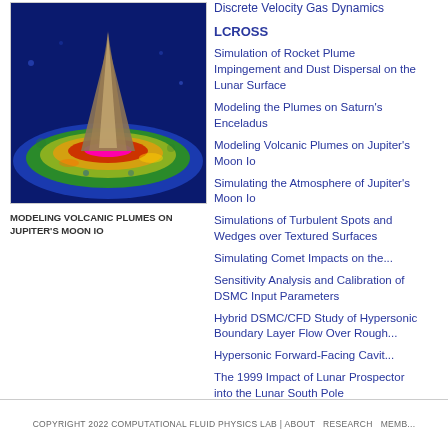[Figure (photo): False-color simulation visualization of volcanic plumes on Jupiter's moon Io, showing a conical plume structure above a colorful disc-shaped surface with rainbow-spectrum coloring (blue, green, yellow, red, pink).]
MODELING VOLCANIC PLUMES ON JUPITER'S MOON IO
Discrete Velocity Gas Dynamics
LCROSS
Simulation of Rocket Plume Impingement and Dust Dispersal on the Lunar Surface
Modeling the Plumes on Saturn's Enceladus
Modeling Volcanic Plumes on Jupiter's Moon Io
Simulating the Atmosphere of Jupiter's Moon Io
Simulations of Turbulent Spots and Wedges over Textured Surfaces
Simulating Comet Impacts on the...
Sensitivity Analysis and Calibration of DSMC Input Parameters
Hybrid DSMC/CFD Study of Hypersonic Boundary Layer Flow Over Rough...
Hypersonic Forward-Facing Cavit...
The 1999 Impact of Lunar Prospector into the Lunar South Pole
COPYRIGHT 2022 COMPUTATIONAL FLUID PHYSICS LAB | ABOUT  RESEARCH  MEMB...